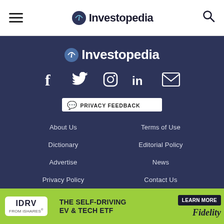Investopedia
[Figure (logo): Investopedia footer logo with social media icons (Facebook, Twitter, Instagram, LinkedIn, Email)]
[Figure (other): Privacy Feedback badge powered by TRUSTe]
About Us
Terms of Use
Dictionary
Editorial Policy
Advertise
News
Privacy Policy
Contact Us
[Figure (other): IDRV from iShares advertisement - The Self-Driving EV & Tech ETF by Fidelity - Learn More button]